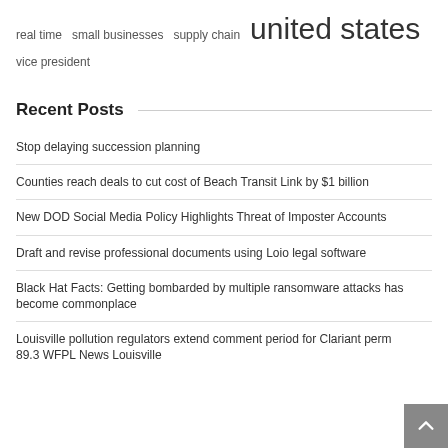real time   small businesses   supply chain   united states
vice president
Recent Posts
Stop delaying succession planning
Counties reach deals to cut cost of Beach Transit Link by $1 billion
New DOD Social Media Policy Highlights Threat of Imposter Accounts
Draft and revise professional documents using Loio legal software
Black Hat Facts: Getting bombarded by multiple ransomware attacks has become commonplace
Louisville pollution regulators extend comment period for Clariant perm 89.3 WFPL News Louisville